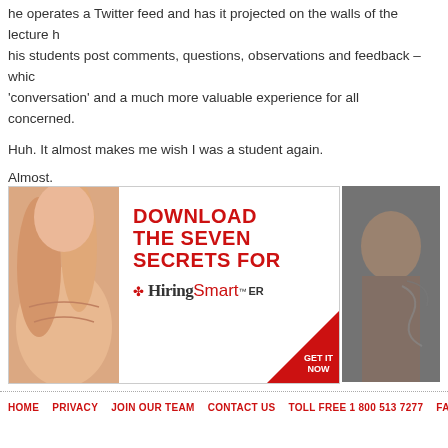he operates a Twitter feed and has it projected on the walls of the lecture h... his students post comments, questions, observations and feedback – which... 'conversation' and a much more valuable experience for all concerned.
Huh. It almost makes me wish I was a student again.
Almost.
[Figure (infographic): Advertisement banner: 'DOWNLOAD THE SEVEN SECRETS FOR HiringSmart ER' with a hand ear image on the left, red text, and a red corner 'GET IT NOW' call to action. Partially visible second image of a person thinking.]
HOME  PRIVACY  JOIN OUR TEAM  CONTACT US  TOLL FREE 1 800 513 7277  FAX 1 902 423 34...